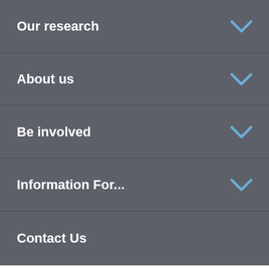Our research
About us
Be involved
Information For...
Contact Us
Disclaimer  Privacy  Whistleblower  Cookies  Careers  Site map  Site info
[Figure (infographic): Social media icons in circles: Facebook, Instagram, Twitter, YouTube, LinkedIn, Vimeo]